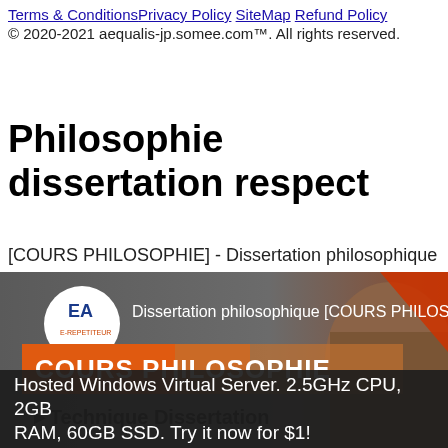Terms & Conditions Privacy Policy SiteMap Refund Policy
© 2020-2021 aequalis-jp.somee.com™. All rights reserved.
Philosophie dissertation respect
[COURS PHILOSOPHIE] - Dissertation philosophique
[Figure (screenshot): YouTube video thumbnail for 'Dissertation philosophique [COURS PHILOSOPHIE]' showing E-REPETITEUR logo, orange COURS PHILOSOPHIE banner, and a man's face. Bottom text: Technique Dissertation]
Hosted Windows Virtual Server. 2.5GHz CPU, 2GB RAM, 60GB SSD. Try it now for $1!